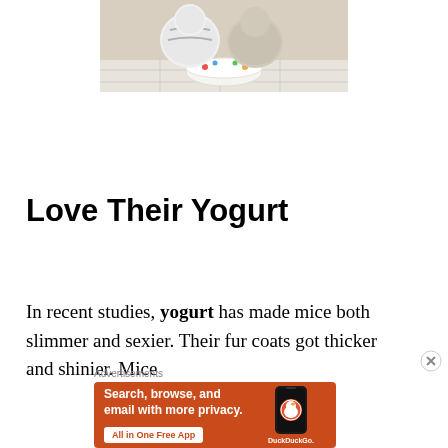[Figure (photo): Cats eating from a colorful bowl on a tiled floor]
Love Their Yogurt
In recent studies, yogurt has made mice both slimmer and sexier. Their fur coats got thicker and shinier. Mice
Advertisements
[Figure (screenshot): DuckDuckGo advertisement: Search, browse, and email with more privacy. All in One Free App.]